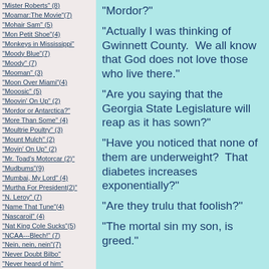"Mister Roberts" (8)
"Moamar:The Movie"(7)
"Mohair Sam" (5)
"Mon Petit Shoe"(4)
"Monkeys in Mississippi"
"Moody Blue"(7)
"Moody" (7)
"Mooman" (3)
"Moon Over Miami"(4)
"Mooosic" (5)
"Moovin' On Up" (2)
"Mordor or Antarctica?"
"More Than Some" (4)
"Moultrie Poultry" (3)
"Mount Mulch" (2)
"Movin' On Up" (2)
"Mr. Toad's Motorcar (2)"
"Mudbums"(9)
"Mumbai, My Lord" (4)
"Murtha For President(2)"
"N. Leroy" (7)
"Name That Tune"(4)
"Nascaroil" (4)
"Nat King Cole Sucks"(5)
"NCAA---Blech!" (7)
"Nein, nein, nein"(7)
"Never Doubt Bilbo"
"Never heard of him"
"Mordor?"
"Actually I was thinking of Gwinnett County.  We all know that God does not love those who live there."
"Are you saying that the Georgia State Legislature will reap as it has sown?"
"Have you noticed that none of them are underweight?  That diabetes increases exponentially?"
"Are they trulu that foolish?"
"The mortal sin my son, is greed."